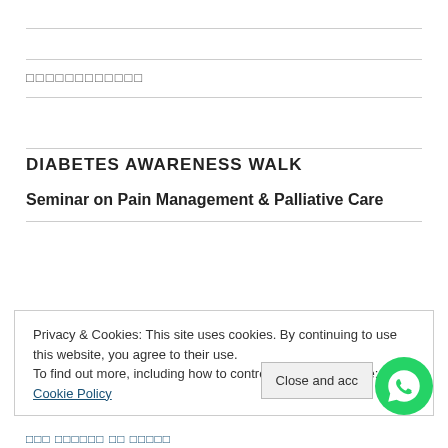□□□□□□□□□□□□
DIABETES AWARENESS WALK
Seminar on Pain Management & Palliative Care
Privacy & Cookies: This site uses cookies. By continuing to use this website, you agree to their use.
To find out more, including how to control cookies, see here: Cookie Policy
Close and acc